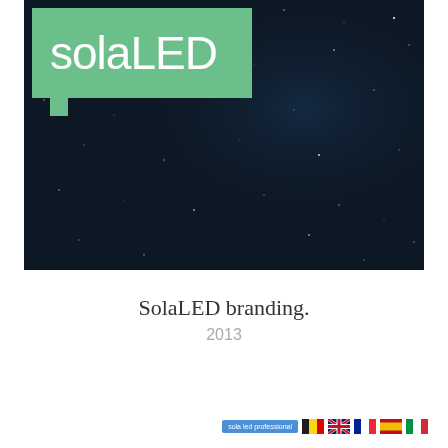[Figure (photo): SolaLED brand logo on green speech bubble background over a dark navy starry night sky hero image]
SolaLED branding.
2013
[Figure (logo): Footer bar with blue button labeled 'sola led professional' and flag icons for Belgium, UK, France, Spain, and Italy]